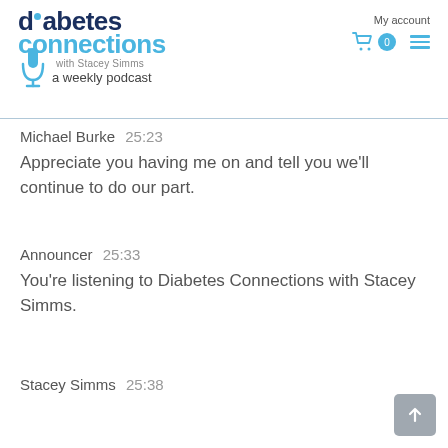[Figure (logo): Diabetes Connections with Stacey Simms - a weekly podcast logo with microphone icon]
My account
Michael Burke  25:23
Appreciate you having me on and tell you we'll continue to do our part.
Announcer  25:33
You're listening to Diabetes Connections with Stacey Simms.
Stacey Simms  25:38